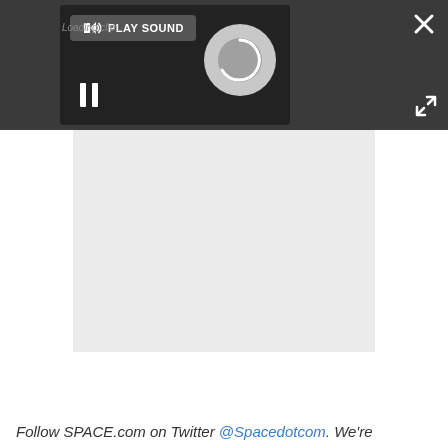[Figure (screenshot): A dark gray media player overlay showing a spinning loading circle, PLAY SOUND button with speaker icon, and a pause (||) button. Top-right shows a white X close button and a resize/expand icon.]
[Figure (screenshot): A light gray rectangular placeholder area (advertisement or embedded content area).]
Follow SPACE.com on Twitter @Spacedotcom. We're